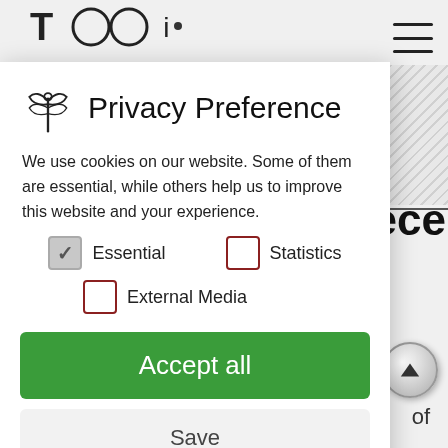[Figure (screenshot): Privacy preference cookie consent modal overlay on a website. Shows a logo (dragonfly icon), title 'Privacy Preference', body text about cookies, checkboxes for Essential (checked), Statistics (unchecked), External Media (unchecked), and buttons: Accept all (green), Save, Accept only essential cookies, Individual Privacy Preferences link, and footer links: Cookie Details | Privacy Policy | Imprint.]
Privacy Preference
We use cookies on our website. Some of them are essential, while others help us to improve this website and your experience.
Essential (checked)
Statistics (unchecked)
External Media (unchecked)
Accept all
Save
Accept only essential cookies
Individual Privacy Preferences
Cookie Details | Privacy Policy | Imprint